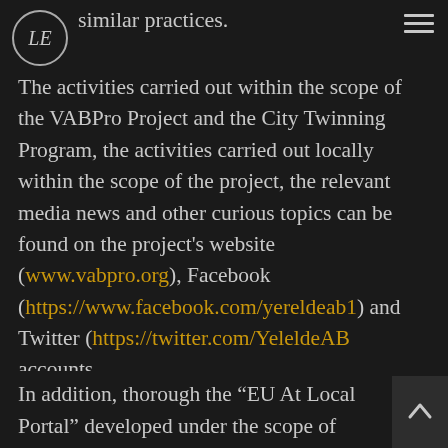LE [logo] | similar practices.
The activities carried out within the scope of the VABPro Project and the City Twinning Program, the activities carried out locally within the scope of the project, the relevant media news and other curious topics can be found on the project's website (www.vabpro.org), Facebook (https://www.facebook.com/yereldeab1) and Twitter (https://twitter.com/YeleldeAB accounts.
In addition, thorough the “EU At Local Portal” developed under the scope of